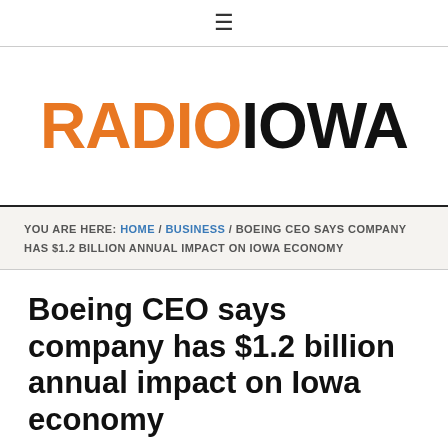≡
[Figure (logo): Radio Iowa logo — RADIO in orange, IOWA in black, large bold sans-serif text]
YOU ARE HERE: HOME / BUSINESS / BOEING CEO SAYS COMPANY HAS $1.2 BILLION ANNUAL IMPACT ON IOWA ECONOMY
Boeing CEO says company has $1.2 billion annual impact on Iowa economy
NOVEMBER 15, 2018 BY RADIO IOWA CONTRIBUTOR